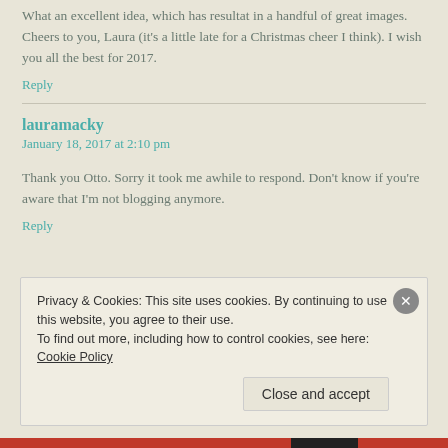What an excellent idea, which has resultat in a handful of great images. Cheers to you, Laura (it's a little late for a Christmas cheer I think). I wish you all the best for 2017.
Reply
lauramacky
January 18, 2017 at 2:10 pm
Thank you Otto. Sorry it took me awhile to respond. Don't know if you're aware that I'm not blogging anymore.
Reply
Privacy & Cookies: This site uses cookies. By continuing to use this website, you agree to their use.
To find out more, including how to control cookies, see here: Cookie Policy
Close and accept